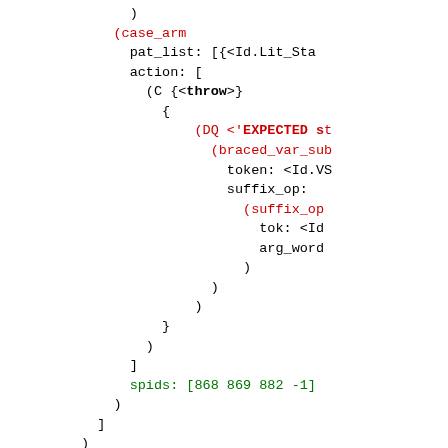Code listing showing AST structure with case_arm, DQ, braced_var_sub, suffix_op, command.Case nodes